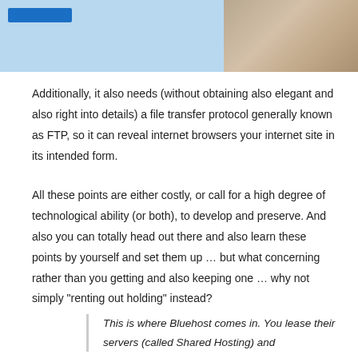[Figure (photo): Top banner with blue/light-blue background on the left and a photo of hands writing/working on the right]
Additionally, it also needs (without obtaining also elegant and also right into details) a file transfer protocol generally known as FTP, so it can reveal internet browsers your internet site in its intended form.
All these points are either costly, or call for a high degree of technological ability (or both), to develop and preserve. And also you can totally head out there and also learn these points by yourself and set them up … but what concerning rather than you getting and also keeping one … why not simply “renting out holding” instead?
This is where Bluehost comes in. You lease their servers (called Shared Hosting) and